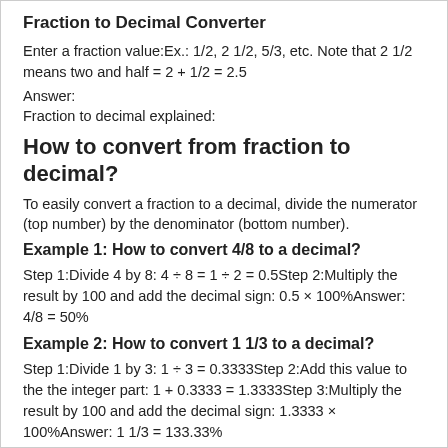Fraction to Decimal Converter
Enter a fraction value:Ex.: 1/2, 2 1/2, 5/3, etc. Note that 2 1/2 means two and half = 2 + 1/2 = 2.5
Answer:
Fraction to decimal explained:
How to convert from fraction to decimal?
To easily convert a fraction to a decimal, divide the numerator (top number) by the denominator (bottom number).
Example 1: How to convert 4/8 to a decimal?
Step 1:Divide 4 by 8: 4 ÷ 8 = 1 ÷ 2 = 0.5Step 2:Multiply the result by 100 and add the decimal sign: 0.5 × 100%Answer: 4/8 = 50%
Example 2: How to convert 1 1/3 to a decimal?
Step 1:Divide 1 by 3: 1 ÷ 3 = 0.3333Step 2:Add this value to the the integer part: 1 + 0.3333 = 1.3333Step 3:Multiply the result by 100 and add the decimal sign: 1.3333 × 100%Answer: 1 1/3 = 133.33%
Note: the result was rounded to 2 decimal places